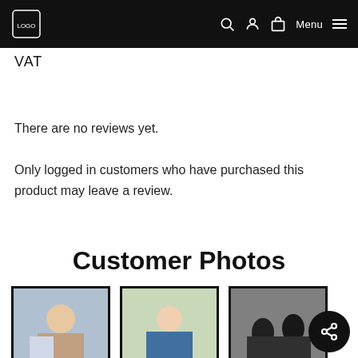VAT
There are no reviews yet.
Only logged in customers who have purchased this product may leave a review.
Customer Photos
[Figure (photo): Three customer photo thumbnails in a horizontal row, each framed with a black border.]